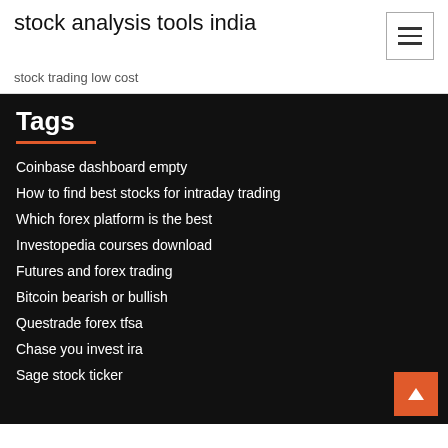stock analysis tools india
stock trading low cost
Tags
Coinbase dashboard empty
How to find best stocks for intraday trading
Which forex platform is the best
Investopedia courses download
Futures and forex trading
Bitcoin bearish or bullish
Questrade forex tfsa
Chase you invest ira
Sage stock ticker